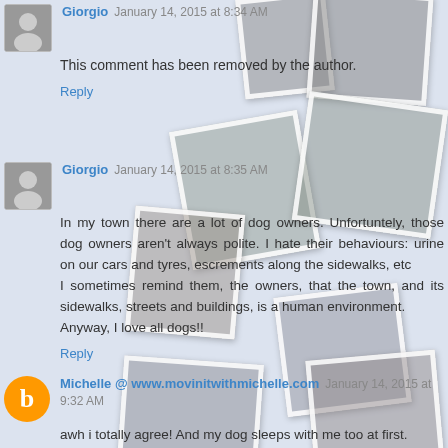[Figure (photo): Background collage of fitness/running photos arranged as overlapping polaroid-style cards]
Giorgio  January 14, 2015 at 8:34 AM
This comment has been removed by the author.
Reply
Giorgio  January 14, 2015 at 8:35 AM
In my town there are a lot of dog owners. Unfortuntely, those dog owners aren't always polite. I hate their behaviours: urine on our cars and tyres, escrements along the sidewalks, etc
I sometimes remind them, the owners, that the town, and its sidewalks, streets and buildings, is a human environment.
Anyway, I love all dogs!!
Reply
Michelle @ www.movinitwithmichelle.com  January 14, 2015 at 9:32 AM
awh i totally agree! And my dog sleeps with me too at first.